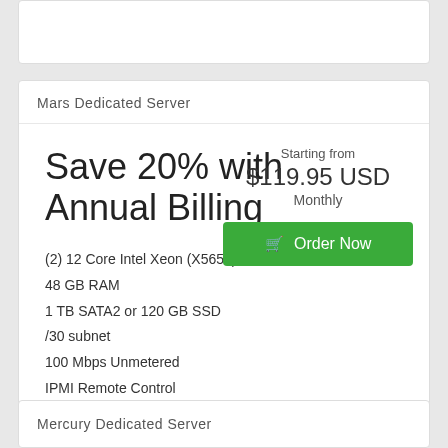Mars Dedicated Server
Save 20% with Annual Billing
Starting from
$119.95 USD
Monthly
(2) 12 Core Intel Xeon (X5650)
48 GB RAM
1 TB SATA2 or 120 GB SSD
/30 subnet
100 Mbps Unmetered
IPMI Remote Control
Mercury Dedicated Server